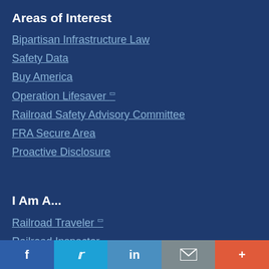Areas of Interest
Bipartisan Infrastructure Law
Safety Data
Buy America
Operation Lifesaver (link)
Railroad Safety Advisory Committee
FRA Secure Area
Proactive Disclosure
I Am A...
Railroad Traveler (link)
Railroad Inspector
Reporter
f  Twitter  in  Email  More